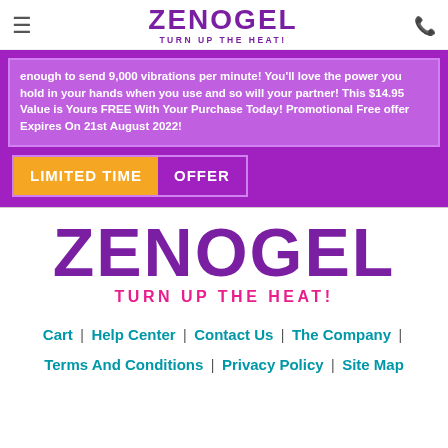ZENOGEL — TURN UP THE HEAT!
enough to send 9,000 vibrations per minute! You'll love the power you hold in your hands when you use and so will your partner! This $14.95 Value is Yours FREE With Your Purchase Today! Promotional Free offer Expires On 21st August 2022!
LIMITED TIME OFFER
ZENOGEL
TURN UP THE HEAT!
Cart | Help Center | Contact Us | The Company | Terms And Conditions | Privacy Policy | Site Map